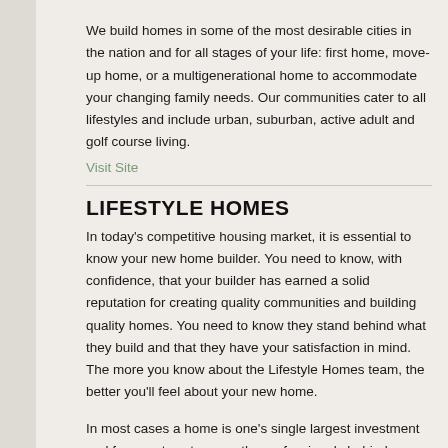We build homes in some of the most desirable cities in the nation and for all stages of your life: first home, move-up home, or a multigenerational home to accommodate your changing family needs. Our communities cater to all lifestyles and include urban, suburban, active adult and golf course living.
Visit Site
LIFESTYLE HOMES
In today's competitive housing market, it is essential to know your new home builder. You need to know, with confidence, that your builder has earned a solid reputation for creating quality communities and building quality homes. You need to know they stand behind what they build and that they have your satisfaction in mind. The more you know about the Lifestyle Homes team, the better you'll feel about your new home.
In most cases a home is one's single largest investment and for over twenty years the professionals behind Lifestyle Homes have consistently demonstrated a commitment to providing quality